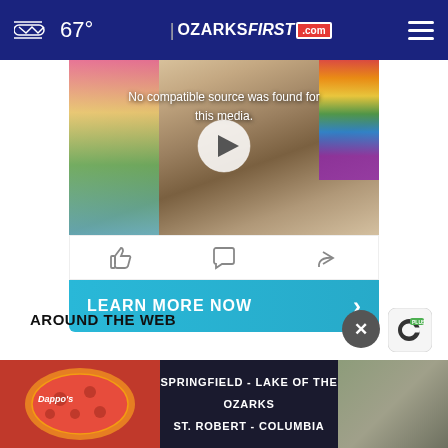67° OzarksFirst.com
[Figure (screenshot): Video player showing two people in a colorful room with text 'No compatible source was found for this media.' and a play button overlay]
No compatible source was found for this media.
[Figure (infographic): Video action icons: thumbs up, comment bubble, share arrow]
LEARN MORE NOW
AROUND THE WEB
[Figure (advertisement): Dappo's pizza advertisement with text: SPRINGFIELD - LAKE OF THE OZARKS ST. ROBERT - COLUMBIA]